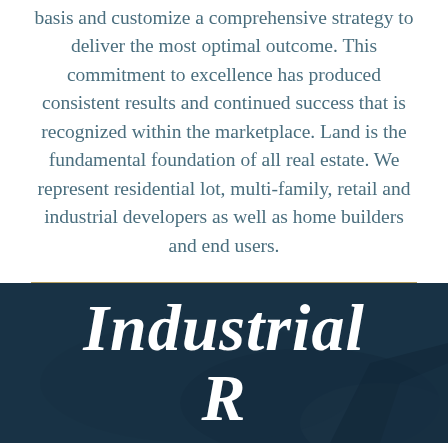basis and customize a comprehensive strategy to deliver the most optimal outcome. This commitment to excellence has produced consistent results and continued success that is recognized within the marketplace. Land is the fundamental foundation of all real estate. We represent residential lot, multi-family, retail and industrial developers as well as home builders and end users.
Industrial Real...